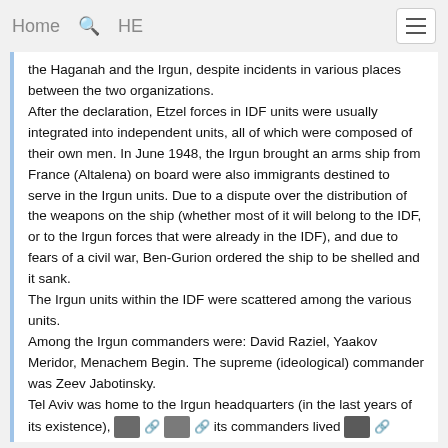Home  🔍  HE  ☰
the Haganah and the Irgun, despite incidents in various places between the two organizations.
After the declaration, Etzel forces in IDF units were usually integrated into independent units, all of which were composed of their own men. In June 1948, the Irgun brought an arms ship from France (Altalena) on board were also immigrants destined to serve in the Irgun units. Due to a dispute over the distribution of the weapons on the ship (whether most of it will belong to the IDF, or to the Irgun forces that were already in the IDF), and due to fears of a civil war, Ben-Gurion ordered the ship to be shelled and it sank.
The Irgun units within the IDF were scattered among the various units.
Among the Irgun commanders were: David Raziel, Yaakov Meridor, Menachem Begin. The supreme (ideological) commander was Zeev Jabotinsky.
Tel Aviv was home to the Irgun headquarters (in the last years of its existence), its commanders lived